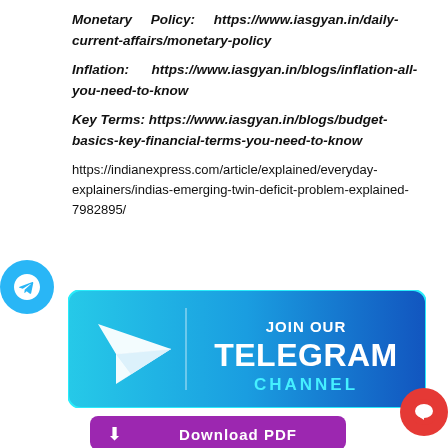Monetary Policy: https://www.iasgyan.in/daily-current-affairs/monetary-policy
Inflation: https://www.iasgyan.in/blogs/inflation-all-you-need-to-know
Key Terms: https://www.iasgyan.in/blogs/budget-basics-key-financial-terms-you-need-to-know
https://indianexpress.com/article/explained/everyday-explainers/indias-emerging-twin-deficit-problem-explained-7982895/
[Figure (infographic): JOIN OUR TELEGRAM CHANNEL banner with paper plane icon on gradient blue background]
[Figure (infographic): Download PDF button in purple]